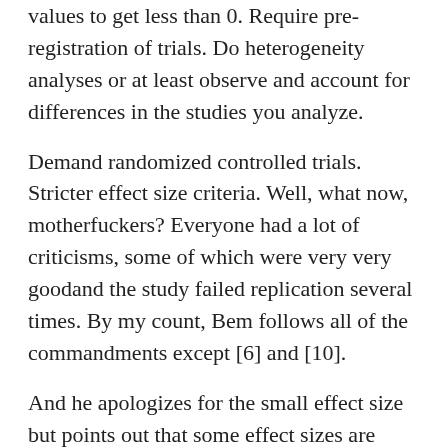values to get less than 0. Require pre-registration of trials. Do heterogeneity analyses or at least observe and account for differences in the studies you analyze.
Demand randomized controlled trials. Stricter effect size criteria. Well, what now, motherfuckers? Everyone had a lot of criticisms, some of which were very very goodand the study failed replication several times. By my count, Bem follows all of the commandments except [6] and [10].
And he apologizes for the small effect size but points out that some effect sizes are legitimately very small, this is no smaller than a lot of other commonly-accepted results, and that a high enough p-value ought to make up for a low effect size.The Online Writing Lab (OWL) at Purdue University houses writing resources and instructional material, and we provide these as a free service of the Writing Lab at Purdue.